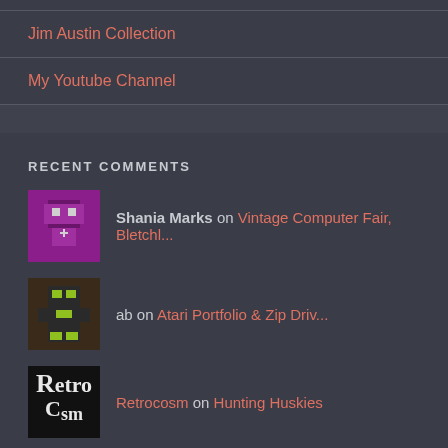Jim Austin Collection
My Youtube Channel
RECENT COMMENTS
Shania Marks on Vintage Computer Fair, Bletchl...
ab on Atari Portfolio & Zip Driv...
Retrocosm on Hunting Huskies
BLOG STATS
509,782 hits